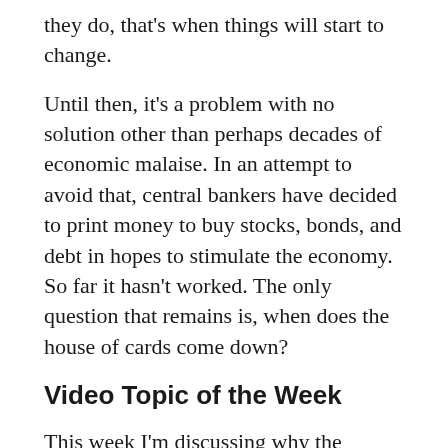they do, that's when things will start to change.
Until then, it's a problem with no solution other than perhaps decades of economic malaise. In an attempt to avoid that, central bankers have decided to print money to buy stocks, bonds, and debt in hopes to stimulate the economy. So far it hasn't worked. The only question that remains is, when does the house of cards come down?
Video Topic of the Week
This week I'm discussing why the volume on the market has been abnormally low, this month's Nonfarm Payrolls report, the ISM factory survey, consumer confidence and why natural disasters are disastrous for the economy. And after the…